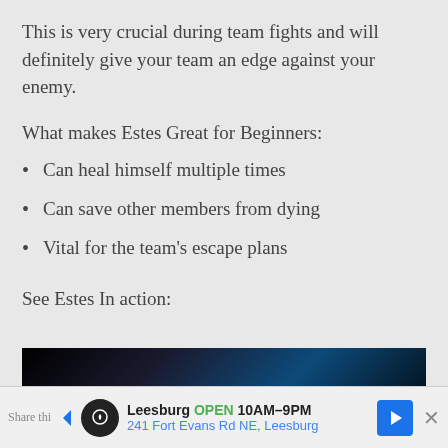This is very crucial during team fights and will definitely give your team an edge against your enemy.
What makes Estes Great for Beginners:
Can heal himself multiple times
Can save other members from dying
Vital for the team's escape plans
See Estes In action:
[Figure (screenshot): Video thumbnail showing the game character Estes with yellow text reading 'ESTES' on a dark background]
Share thi... | Leesburg OPEN 10AM–9PM | 241 Fort Evans Rd NE, Leesburg